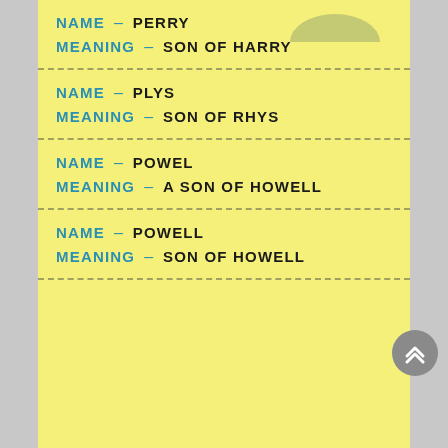NAME – PERRY
MEANING – SON OF HARRY
NAME – PLYS
MEANING – SON OF RHYS
NAME – POWEL
MEANING – A SON OF HOWELL
NAME – POWELL
MEANING – SON OF HOWELL